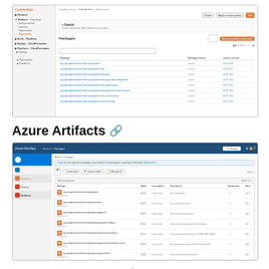[Figure (screenshot): AWS CodeArtifact repository packages list screenshot showing packages like org.springframework.boot with versions and latest versions]
Azure Artifacts 🔗
[Figure (screenshot): Azure Artifacts packages list screenshot showing Maven packages like org.springframework.boot with versions and descriptions]
Github Packages 🔗